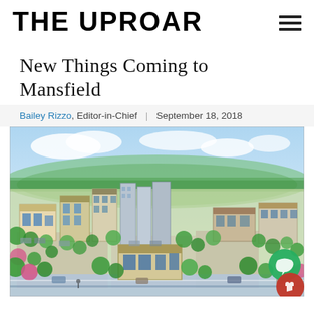THE UPROAR
New Things Coming to Mansfield
Bailey Rizzo, Editor-in-Chief | September 18, 2018
[Figure (illustration): Aerial watercolor-style architectural rendering of a large mixed-use retail and residential development complex in Mansfield, showing parking lots, trees, storefronts, and multi-story buildings under a blue sky]